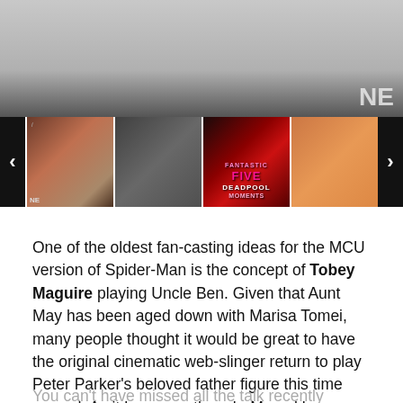[Figure (photo): Top image strip showing a partial photo of a person, with an NE logo in the bottom right corner]
[Figure (photo): A horizontal row of four thumbnail images: a woman in brown, a blurred man, a Deadpool Fantastic Five Moments promotional image in red/pink, and a man in a pink jacket. Navigation arrows on each side.]
One of the oldest fan-casting ideas for the MCU version of Spider-Man is the concept of Tobey Maguire playing Uncle Ben. Given that Aunt May has been aged down with Marisa Tomei, many people thought it would be great to have the original cinematic web-slinger return to play Peter Parker's beloved father figure this time around. As it happens, though, Marvel has so far decided to eliminate the Uncle Ben character completely. But it's possible that he could appear in the films to come.
You can't have missed all the talk recently pointing